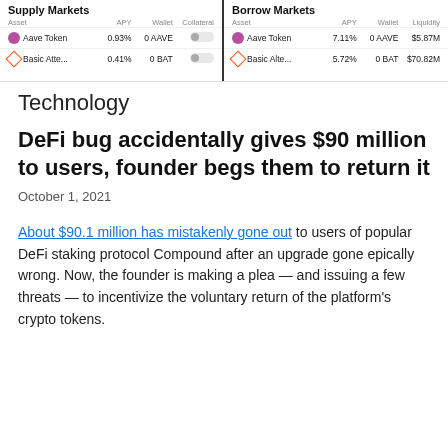Supply Markets | Aave Token 0.93% 0 AAVE | Basic Atte... 0.41% 0 BAT || Borrow Markets | Aave Token 7.11% 0 AAVE $5.87M | Basic Alte... 5.72% 0 BAT $70.82M
Technology
DeFi bug accidentally gives $90 million to users, founder begs them to return it
October 1, 2021
About $90.1 million has mistakenly gone out to users of popular DeFi staking protocol Compound after an upgrade gone epically wrong. Now, the founder is making a plea — and issuing a few threats — to incentivize the voluntary return of the platform's crypto tokens.